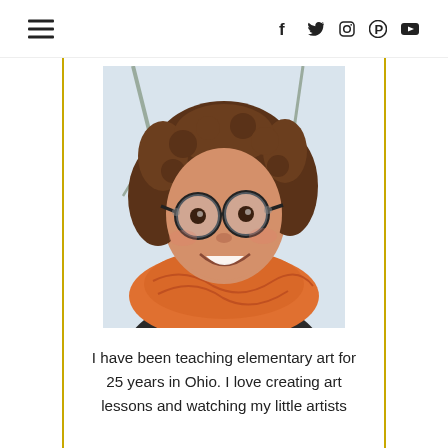Navigation header with hamburger menu and social media icons (Facebook, Twitter, Instagram, Pinterest, YouTube)
[Figure (photo): Portrait photo of a woman with curly brown hair, black glasses, and an orange scarf, smiling outdoors in winter]
I have been teaching elementary art for 25 years in Ohio. I love creating art lessons and watching my little artists